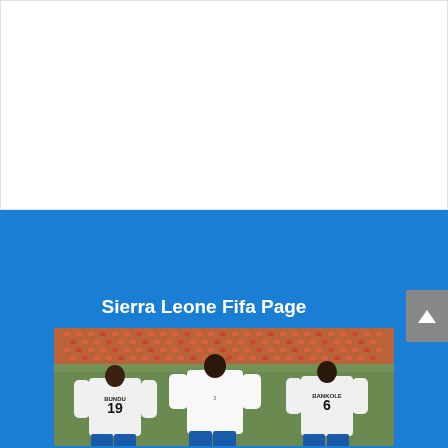[Figure (other): White blank upper section of a webpage]
Sierra Leone Fifa Page
[Figure (photo): Photo of Sierra Leone national football team players wearing white jerseys. Player with number 19 (BUNDU) and player with number 6 (BANKOLE) visible from behind, with a third player in the center facing them. Stadium with red seats in background.]